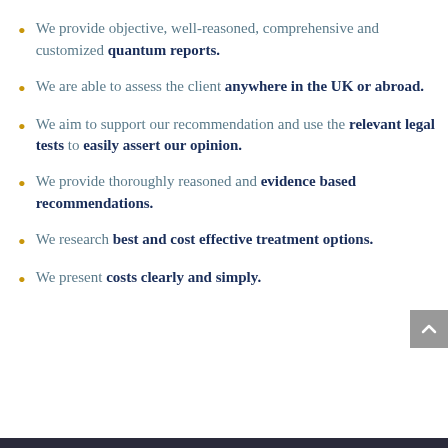We provide objective, well-reasoned, comprehensive and customized quantum reports.
We are able to assess the client anywhere in the UK or abroad.
We aim to support our recommendation and use the relevant legal tests to easily assert our opinion.
We provide thoroughly reasoned and evidence based recommendations.
We research best and cost effective treatment options.
We present costs clearly and simply.